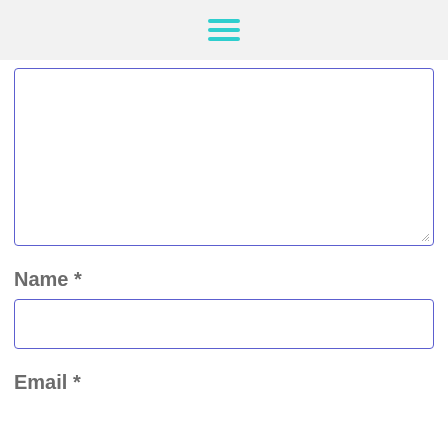[hamburger menu icon]
[textarea input field]
Name *
[name input field]
Email *